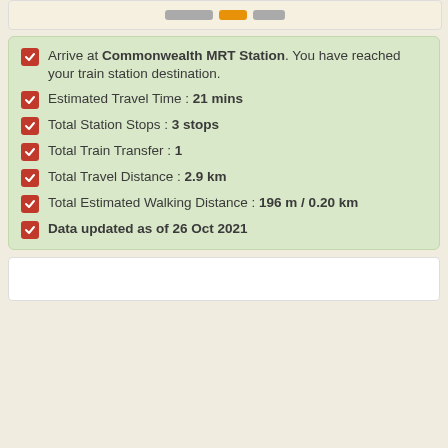Arrive at Commonwealth MRT Station. You have reached your train station destination.
Estimated Travel Time : 21 mins
Total Station Stops : 3 stops
Total Train Transfer : 1
Total Travel Distance : 2.9 km
Total Estimated Walking Distance : 196 m / 0.20 km
Data updated as of 26 Oct 2021